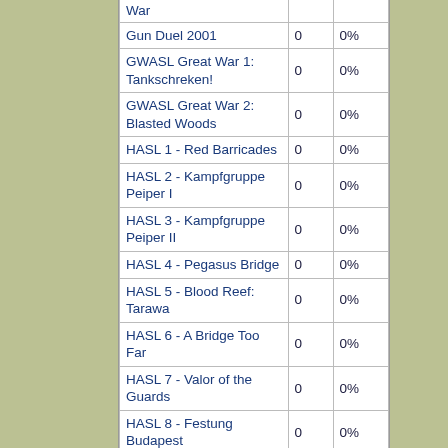| Module |  |  |
| --- | --- | --- |
| War |  |  |
| Gun Duel 2001 | 0 | 0% |
| GWASL Great War 1: Tankschreken! | 0 | 0% |
| GWASL Great War 2: Blasted Woods | 0 | 0% |
| HASL 1 - Red Barricades | 0 | 0% |
| HASL 2 - Kampfgruppe Peiper I | 0 | 0% |
| HASL 3 - Kampfgruppe Peiper II | 0 | 0% |
| HASL 4 - Pegasus Bridge | 0 | 0% |
| HASL 5 - Blood Reef: Tarawa | 0 | 0% |
| HASL 6 - A Bridge Too Far | 0 | 0% |
| HASL 7 - Valor of the Guards | 0 | 0% |
| HASL 8 - Festung Budapest | 0 | 0% |
| HASL 9 - Hatten in Flames | 0 | 0% |
| HASL 10a - Red Factories | 0 | 0% |
| HASL 10b - Red October | 0 | 0% |
| HASL 11 - ... |  |  |